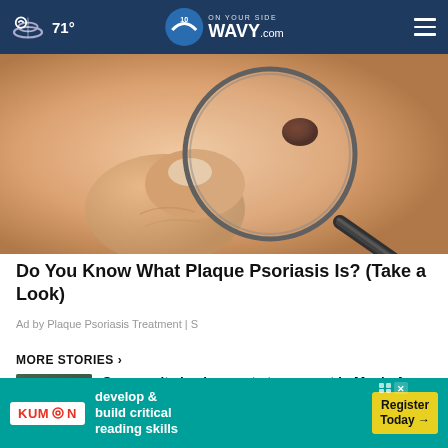71° WAVY.com — ON YOUR SIDE
[Figure (photo): Close-up of skin with a dark mole/bump being examined by a magnifying glass held by a hand — advertisement image for Plaque Psoriasis Treatment]
Do You Know What Plaque Psoriasis Is? (Take a Look)
Ad by Plaque Psoriasis Treatment | S
MORE STORIES ›
Community leader reacts to suspect in Maple Ave shooting
Critical Missing Adult Alert issued for
[Figure (infographic): Kumon advertisement banner: develop & build critical reading skills — Register Today →]